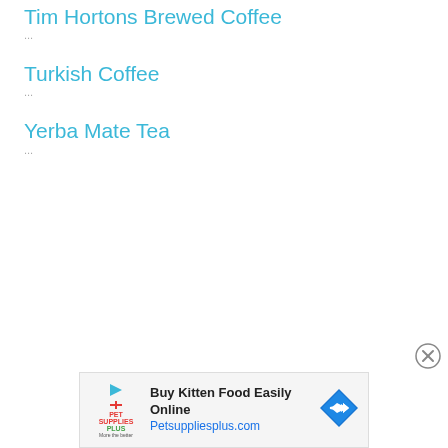Tim Hortons Brewed Coffee
Turkish Coffee
Yerba Mate Tea
[Figure (other): Close button (X in circle) for dismissing advertisement]
[Figure (other): Advertisement banner: Pet Supplies Plus - Buy Kitten Food Easily Online - Petsuppliesplus.com with blue diamond arrow icon]